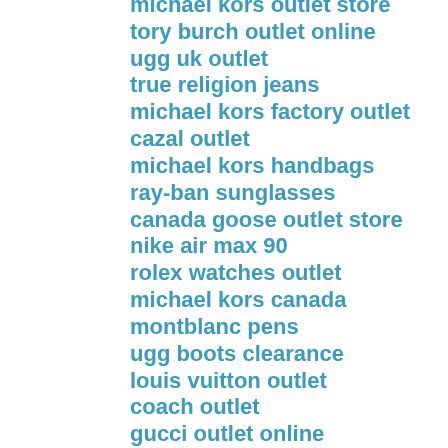michael kors outlet store
tory burch outlet online
ugg uk outlet
true religion jeans
michael kors factory outlet
cazal outlet
michael kors handbags
ray-ban sunglasses
canada goose outlet store
nike air max 90
rolex watches outlet
michael kors canada
montblanc pens
ugg boots clearance
louis vuitton outlet
coach outlet
gucci outlet online
iphone case
cheap mlb jerseys
swarovski jewelry
fitflops sale clearance
coach factory outlet
longchamp pliage